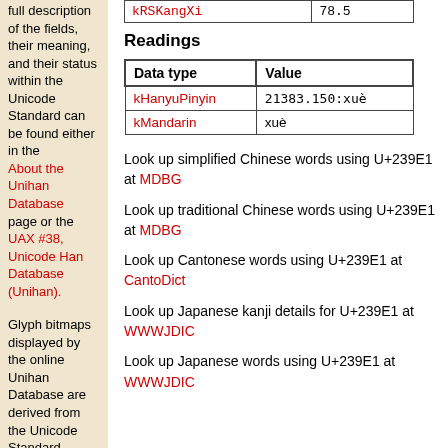| kRSKangXi | 78.5 |
| --- | --- |
Readings
| Data type | Value |
| --- | --- |
| kHanyuPinyin | 21383.150:xuè |
| kMandarin | xuè |
Look up simplified Chinese words using U+239E1 at MDBG
Look up traditional Chinese words using U+239E1 at MDBG
Look up Cantonese words using U+239E1 at CantoDict
Look up Japanese kanji details for U+239E1 at WWWJDIC
Look up Japanese words using U+239E1 at WWWJDIC
full description of the fields, their meaning, and their status within the Unicode Standard can be found either in the About the Unihan Database page or the UAX #38, Unicode Han Database (Unihan).
Glyph bitmaps displayed by the online Unihan Database are derived from the Unicode Standard,